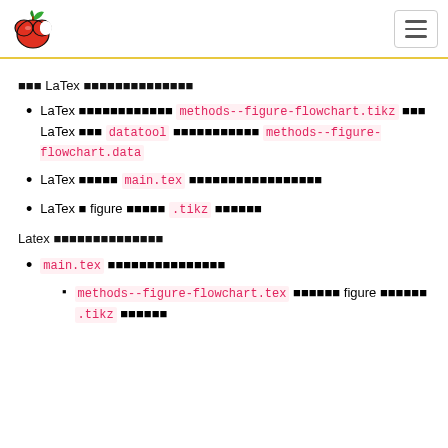[Apple logo] [Hamburger menu]
??? LaTex ??????????????
LaTex ?????????????? methods--figure-flowchart.tikz ??? LaTex ??? datatool ?????????????? methods--figure-flowchart.data
LaTex ?????? main.tex ????????????????
LaTex ? figure ?????? .tikz ???????
Latex ??????????????
main.tex ????????????????
methods--figure-flowchart.tex ??????? figure ?????? .tikz ???????